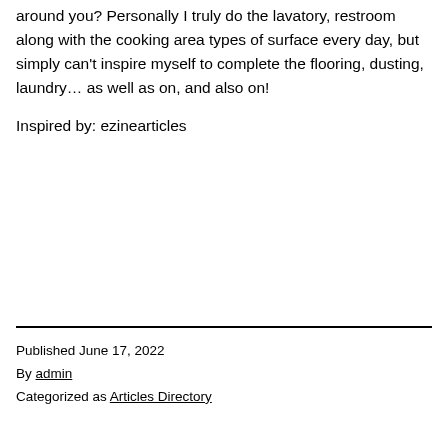around you? Personally I truly do the lavatory, restroom along with the cooking area types of surface every day, but simply can't inspire myself to complete the flooring, dusting, laundry… as well as on, and also on!
Inspired by: ezinearticles
Published June 17, 2022
By admin
Categorized as Articles Directory